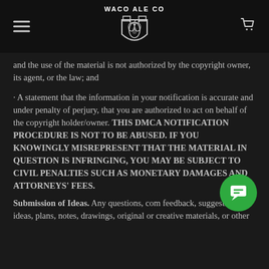WACO ALE CO
and the use of the material is not authorized by the copyright owner, its agent, or the law; and
· A statement that the information in your notification is accurate and under penalty of perjury, that you are authorized to act on behalf of the copyright holder/owner. THIS DMCA NOTIFICATION PROCEDURE IS NOT TO BE ABUSED. IF YOU KNOWINGLY MISREPRESENT THAT THE MATERIAL IN QUESTION IS INFRINGING, YOU MAY BE SUBJECT TO CIVIL PENALTIES SUCH AS MONETARY DAMAGES AND ATTORNEYS' FEES.
Submission of Ideas. Any questions, comments, feedback, suggestions, ideas, plans, notes, drawings, original or creative materials, or other